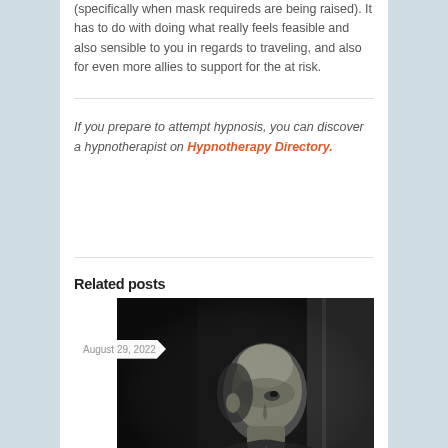(specifically when mask requireds are being raised). It has to do with doing what really feels feasible and also sensible to you in regards to traveling, and also for even more allies to support for the at risk.
If you prepare to attempt hypnosis, you can discover a hypnotherapist on Hypnotherapy Directory.
Related posts
[Figure (photo): Black and white portrait photo of a bald man looking upward, with date badge showing August 29, 2022]